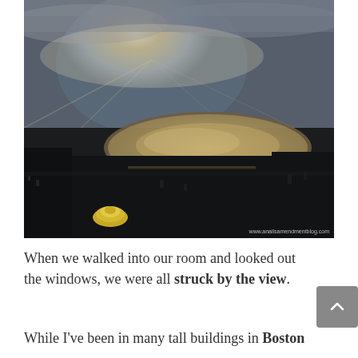[Figure (photo): Aerial view of Boston from a tall building, showing a river (Charles River) reflecting sunlight through cloudy skies, with the city spread below. A gold dome is visible in the lower left. Watermark: www.analisamendmentblog.com]
When we walked into our room and looked out the windows, we were all struck by the view.
While I've been in many tall buildings in Boston